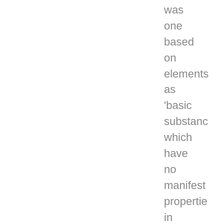was one based on elements as 'basic substance which have no manifest properties in which case the obvious objection